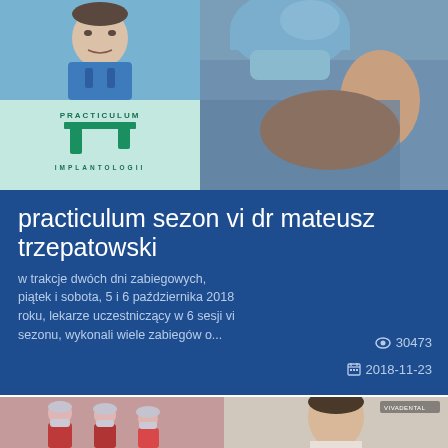[Figure (photo): Top left: photo of a male doctor in blue scrubs; below it a Practiculum Implantologii logo on light green background]
[Figure (photo): Top right: close-up of a surgical procedure, person in blue surgical cap and mask]
practiculum sezon vi dr mateusz trzepatowski
w trakcje dwóch dni zabiegowych, piątek i sobota, 5 i 6 października 2018 roku, lekarze uczestniczący w 6 sesji vi sezonu, wykonali wiele zabiegów o...
👁 30473  📅 2018-11-23
[Figure (photo): Bottom left: medical team in surgical masks and caps; bottom right: male doctor portrait with VIVADENTAL watermark]